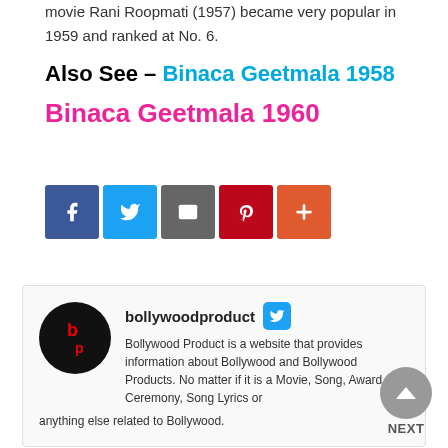movie Rani Roopmati (1957) became very popular in 1959 and ranked at No. 6.
Also See – Binaca Geetmala 1958 Binaca Geetmala 1960
[Figure (other): Social share buttons: Facebook (blue), Twitter (light blue), Email (gray), Pinterest (red), Plus/More (orange-red)]
[Figure (other): Author box for bollywoodproduct with circular logo (black circle with red 'b' and 'p' letters), Twitter icon, and description text: Bollywood Product is a website that provides information about Bollywood and Bollywood Products. No matter if it is a Movie, Song, Award Ceremony, Song Lyrics or anything else related to Bollywood.]
[Figure (other): NEXT navigation button - gray circle with upward triangle arrow and NEXT label below]